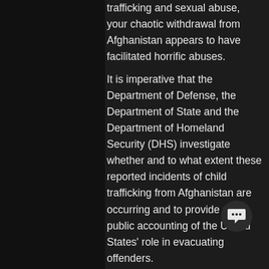trafficking and sexual abuse, your chaotic withdrawal from Afghanistan appears to have facilitated horrific abuses.
It is imperative that the Department of Defense, the Department of State and the Department of Homeland Security (DHS) investigate whether and to what extent these reported incidents of child trafficking from Afghanistan are occurring and to provide a full public accounting of the United States' role in evacuating offenders.
Want to see the real signed letter?  Follow this link:
 https://www.cruz.senate.gov/imo/media/doc/Letters/20210924_Letter%20to%20POTUS%20on%20Afghanistan%20Child%2... s
%20in%20US%20(Cruz-Johnson).pdf